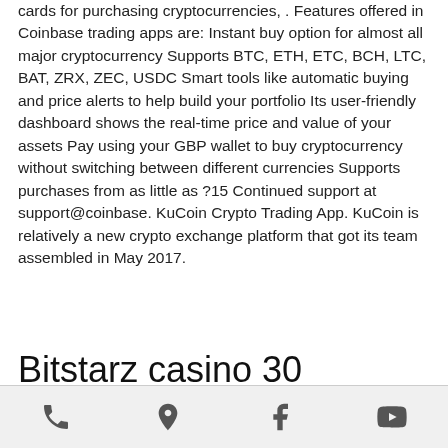cards for purchasing cryptocurrencies, . Features offered in Coinbase trading apps are: Instant buy option for almost all major cryptocurrency Supports BTC, ETH, ETC, BCH, LTC, BAT, ZRX, ZEC, USDC Smart tools like automatic buying and price alerts to help build your portfolio Its user-friendly dashboard shows the real-time price and value of your assets Pay using your GBP wallet to buy cryptocurrency without switching between different currencies Supports purchases from as little as ?15 Continued support at support@coinbase. KuCoin Crypto Trading App. KuCoin is relatively a new crypto exchange platform that got its team assembled in May 2017.
Bitstarz casino 30 gratisspinn, bitstarz
phone, location, facebook, youtube icons